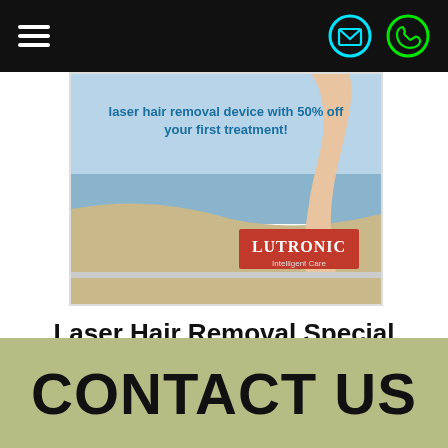Navigation bar with hamburger menu, email icon, phone icon
[Figure (photo): Lutronic laser hair removal advertisement showing a person's legs at a beach with text 'laser hair removal device with 50% off your first treatment!' and the Lutronic Intelligent Care logo]
Laser Hair Removal Special
CONTACT US
...